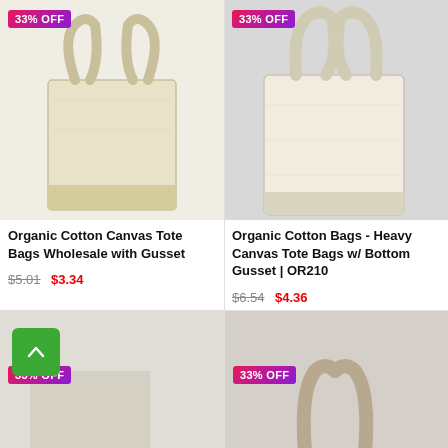[Figure (photo): Organic Cotton Canvas Tote Bag with Gusset on white background, with 33% OFF badge]
Organic Cotton Canvas Tote Bags Wholesale with Gusset
$5.01  $3.34
[Figure (photo): Organic Cotton Bags Heavy Canvas Tote Bag with Bottom Gusset on gray background, with 33% OFF badge]
Organic Cotton Bags - Heavy Canvas Tote Bags w/ Bottom Gusset | OR210
$6.54  $4.36
[Figure (photo): Partial view of another tote bag product with 33% OFF badge, bottom left]
[Figure (photo): Partial view of another tote bag product with 33% OFF badge, bottom right]